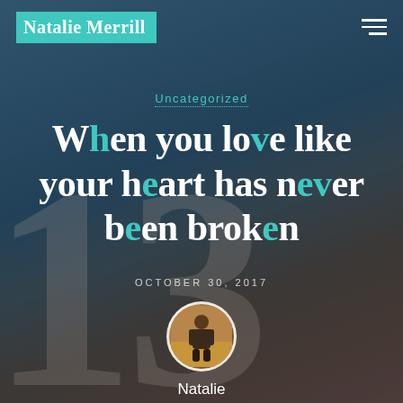[Figure (photo): Background photo of a person sitting outdoors near a building with sky, overlaid with semi-transparent dark filter and a large faded number 13]
Natalie Merrill
Uncategorized
When you love like your heart has never been broken
OCTOBER 30, 2017
Natalie